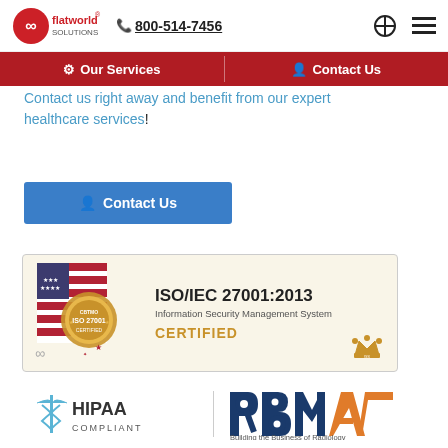flatworld solutions | 800-514-7456
Our Services | Contact Us
Contact us right away and benefit from our expert healthcare services!
Contact Us (button)
[Figure (logo): ISO/IEC 27001:2013 Information Security Management System CERTIFIED badge with US flag and seal]
[Figure (logo): HIPAA COMPLIANT logo with caduceus icon]
[Figure (logo): RBMA Building the Business of Radiology logo]